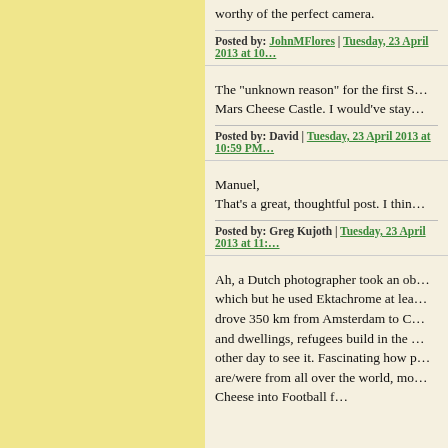worthy of the perfect camera.
Posted by: JohnMFlores | Tuesday, 23 April 2013 at 10…
The "unknown reason" for the first S… Mars Cheese Castle. I would've stay…
Posted by: David | Tuesday, 23 April 2013 at 10:59 PM…
Manuel,
That's a great, thoughtful post. I thin…
Posted by: Greg Kujoth | Tuesday, 23 April 2013 at 11:…
Ah, a Dutch photographer took an ob… which but he used Ektachrome at lea… drove 350 km from Amsterdam to C… and dwellings, refugees build in the … other day to see it. Fascinating how p… are/were from all over the world, mo… Cheese into Football f…